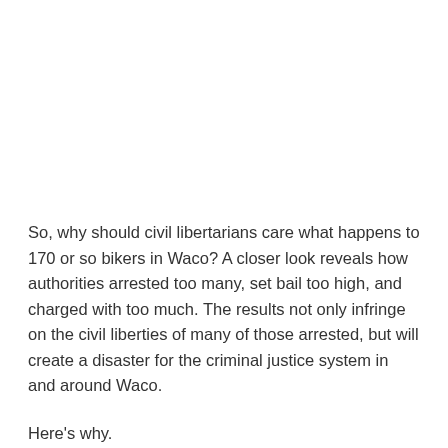So, why should civil libertarians care what happens to 170 or so bikers in Waco? A closer look reveals how authorities arrested too many, set bail too high, and charged with too much. The results not only infringe on the civil liberties of many of those arrested, but will create a disaster for the criminal justice system in and around Waco.
Here's why.